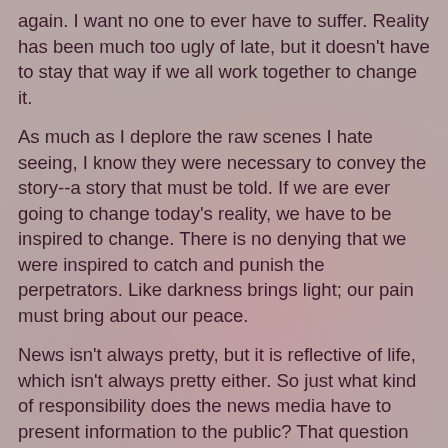again. I want no one to ever have to suffer. Reality has been much too ugly of late, but it doesn't have to stay that way if we all work together to change it.
As much as I deplore the raw scenes I hate seeing, I know they were necessary to convey the story--a story that must be told. If we are ever going to change today's reality, we have to be inspired to change. There is no denying that we were inspired to catch and punish the perpetrators. Like darkness brings light; our pain must bring about our peace.
News isn't always pretty, but it is reflective of life, which isn't always pretty either. So just what kind of responsibility does the news media have to present information to the public? That question has been made much more difficult with the advent of cell phone cameras and social media where everyone thinks they are a journalist. The phenomenon has even been given a name--citizen journalism. I'm here to tell you that everybody isn't a journalist. Everybody isn't a photographer. Most of the people driven to play Lois Lane and Jimmy Olsen are a magnets to the National Jeering...